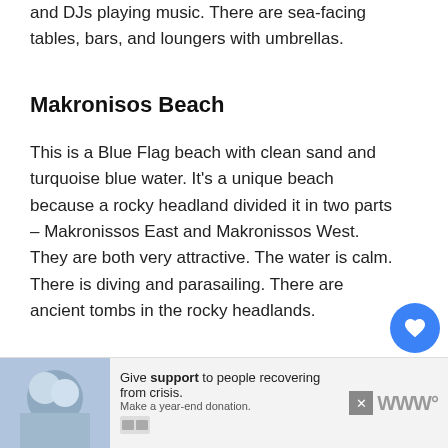and DJs playing music. There are sea-facing tables, bars, and loungers with umbrellas.
Makronisos Beach
This is a Blue Flag beach with clean sand and turquoise blue water. It's a unique beach because a rocky headland divided it in two parts – Makronissos East and Makronissos West. They are both very attractive. The water is calm. There is diving and parasailing. There are ancient tombs in the rocky headlands.
[Figure (other): Heart/like button overlay with count 8 and share button]
[Figure (other): What's Next widget showing Opinions after Moving to...]
[Figure (other): Advertisement banner: Give support to people recovering from crisis. Make a year-end donation.]